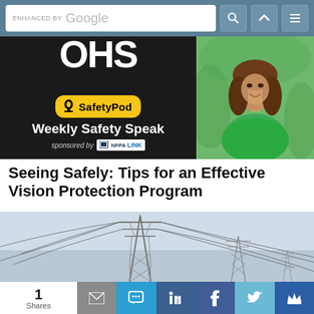ENHANCED BY Google [search bar with navigation icons]
[Figure (other): OHS SafetyPod – Weekly Safety Speak sponsored by NFPA LINK podcast banner with woman photo]
Seeing Safely: Tips for an Effective Vision Protection Program
[Figure (photo): Electrical power transmission towers/pylons against a light blue sky]
1 Shares
[Figure (other): Social sharing bar with email, SMS, LinkedIn, Facebook, Twitter, and crown icons]